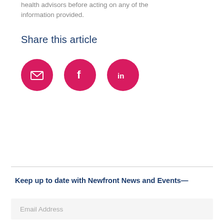health advisors before acting on any of the information provided.
Share this article
[Figure (infographic): Three pink circular social sharing buttons: email (envelope icon), Facebook (f icon), LinkedIn (in icon)]
Keep up to date with Newfront News and Events—
Email Address